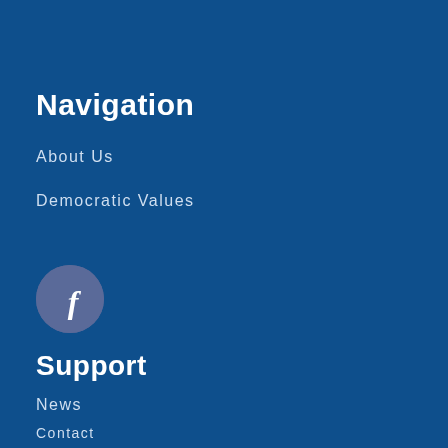Navigation
About Us
Democratic Values
[Figure (logo): Facebook social media icon — white lowercase 'f' on a muted blue-purple circular background]
Support
News
Contact
Take Action